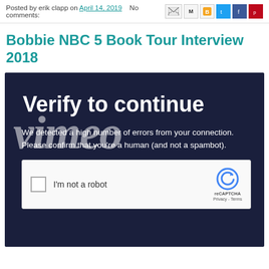Posted by erik clapp on April 14, 2019   No comments:
Bobbie NBC 5 Book Tour Interview 2018
[Figure (screenshot): Vimeo 'Verify to continue' page with reCAPTCHA widget. Shows large bold text 'Verify to continue', Vimeo watermark logo, body text 'We detected a high number of errors from your connection. Please confirm that you’re a human (and not a spambot).', and a reCAPTCHA checkbox labeled 'I’m not a robot'.]